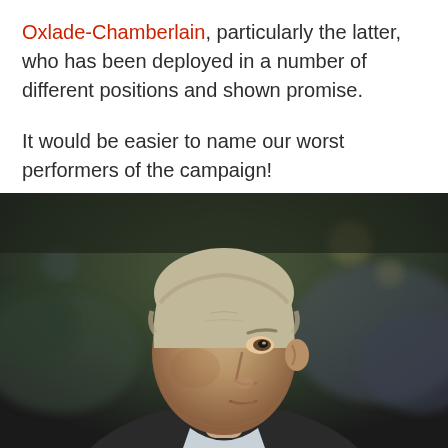Oxlade-Chamberlain, particularly the latter, who has been deployed in a number of different positions and shown promise.
It would be easier to name our worst performers of the campaign!
[Figure (photo): A man with grey-blonde hair in a dark suit jacket and light blue collar, photographed from the side/front against a blurred stadium crowd background with green and brown tones.]